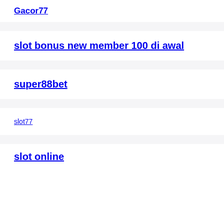Gacor77
slot bonus new member 100 di awal
super88bet
slot77
slot online